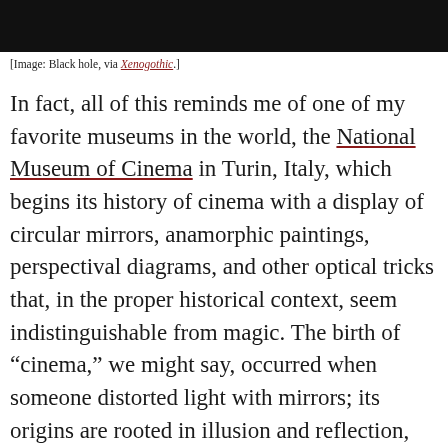[Figure (photo): Black rectangle/bar at top of page representing a black hole image]
[Image: Black hole, via Xenogothic.]
In fact, all of this reminds me of one of my favorite museums in the world, the National Museum of Cinema in Turin, Italy, which begins its history of cinema with a display of circular mirrors, anamorphic paintings, perspectival diagrams, and other optical tricks that, in the proper historical context, seem indistinguishable from magic. The birth of “cinema,” we might say, occurred when someone distorted light with mirrors; its origins are rooted in illusion and reflection, not projection and electricity.
I... (partial text cut off at bottom)